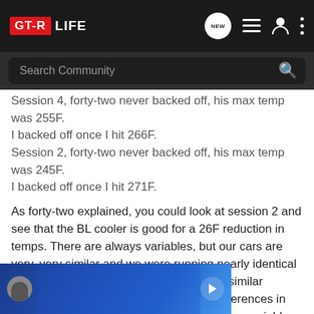GT-R LIFE
Session 4, forty-two never backed off, his max temp was 255F.
I backed off once I hit 266F.
Session 2, forty-two never backed off, his max temp was 245F.
I backed off once I hit 271F.
As forty-two explained, you could look at session 2 and see that the BL cooler is good for a 26F reduction in temps. There are always variables, but our cars are very, very similar and we were running nearly identical laptimes. Same track, similar cars/mods, similar laptimes. I don't discount there can be differences in temps due to driving style and other random variables. Over the entire range of data points, it is clear the BoostLogic cooler *does* work. In my opinion, it is probably good for [12-15]... reduction in temps... might see more or...
[Figure (screenshot): Partial video thumbnail with blue background showing a person's face on the left and a play button on the right]